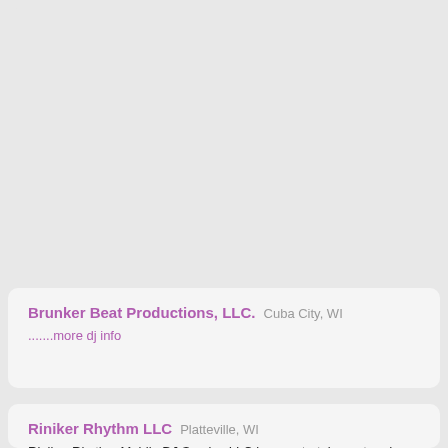[Figure (other): Gray placeholder card area at top of page]
Brunker Beat Productions, LLC.
Cuba City, WI
.......more dj info
Riniker Rhythm LLC
Platteville, WI
Riniker Rhythm Mobile DJ Service LLC is an entertainment and music company for all occasions. Our purpose is to provide life to any event